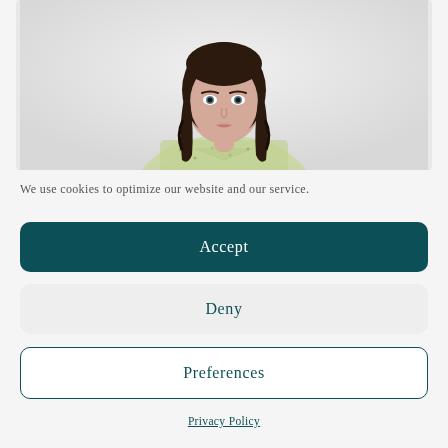[Figure (photo): A young woman with long dark wavy hair wearing a floral patterned light-colored blouse, photographed against a white/light gray background, upper body portrait.]
We use cookies to optimize our website and our service.
Accept
Deny
Preferences
Privacy Policy